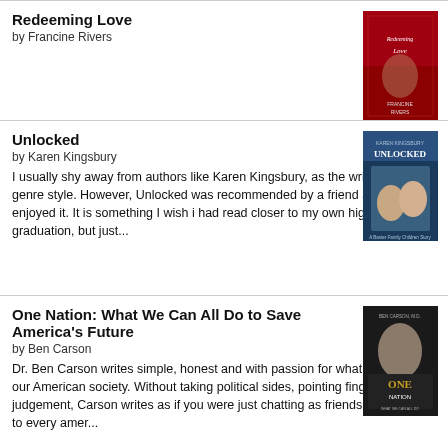Redeeming Love by Francine Rivers
Unlocked by Karen Kingsbury — I usually shy away from authors like Karen Kingsbury, as the writing is notm genre style. However, Unlocked was recommended by a friend and I enjoyed it. It is something I wish i had read closer to my own high school graduation, but just...
One Nation: What We Can All Do to Save America's Future by Ben Carson — Dr. Ben Carson writes simple, honest and with passion for what he sees in our American society. Without taking political sides, pointing fingers or judgement, Carson writes as if you were just chatting as friends. He writes to every amer...
The Prayer Box by Lisa Wingate